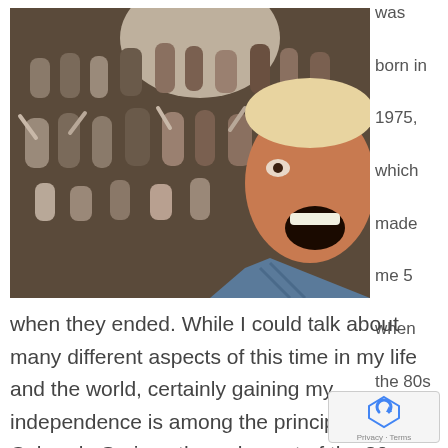[Figure (photo): A selfie photo of a man with an excited expression, mouth open wide, in the foreground. Behind him is a large crowd of people, including children and adults, many waving, gathered in what appears to be an indoor venue with bright light in the background.]
was born in 1975, which made me 5 when the 80s began and 15
when they ended. While I could talk about many different aspects of this time in my life and the world, certainly gaining my independence is among the principle. I lived Colorado Springs through most of the 80s,